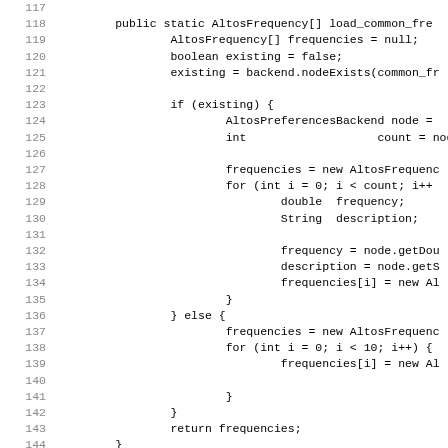Source code listing lines 117-148, showing Java methods load_common_frequencies and save_common_frequencies with AltosFrequency array handling, backend node existence checks, and frequency/description retrieval loops.